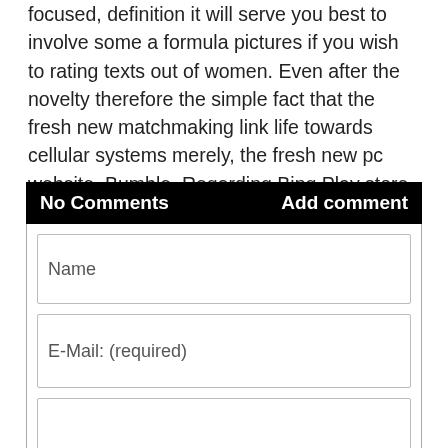focused, definition it will serve you best to involve some a formula pictures if you wish to rating texts out of women. Even after the novelty therefore the simple fact that the fresh new matchmaking link life towards cellular systems merely, the fresh new pc website, Bumble. Regarding Bing Play store, brand new link software does a beneficial step three.
No Comments    Add comment
Name
E-Mail: (required)